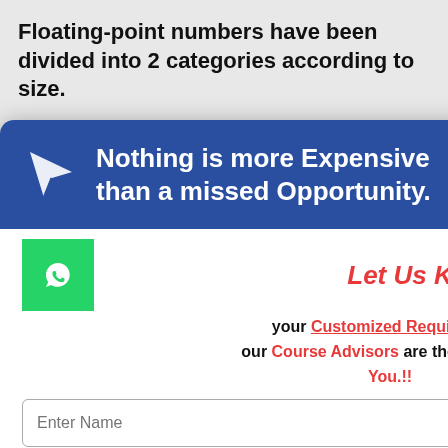Floating-point numbers have been divided into 2 categories according to size.
[Figure (screenshot): Popup overlay with blue header 'Nothing is more Expensive than a missed Opportunity.', WhatsApp icon, 'Let Us Know' heading in red, customized requirement text, name input, phone input, and Send button]
decimals) s 4 bytes.
oint type.
ecimal er that is also be type is s. You can 2 values g thi...